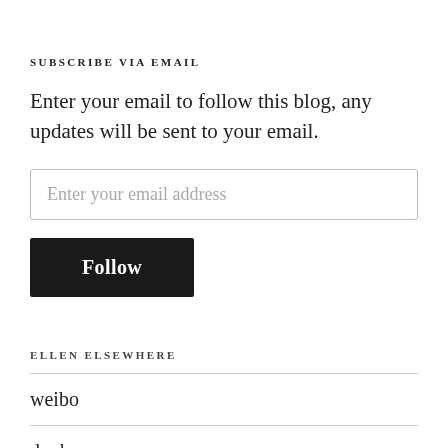SUBSCRIBE VIA EMAIL
Enter your email to follow this blog, any updates will be sent to your email.
Enter your email address
Follow
ELLEN ELSEWHERE
weibo
douban